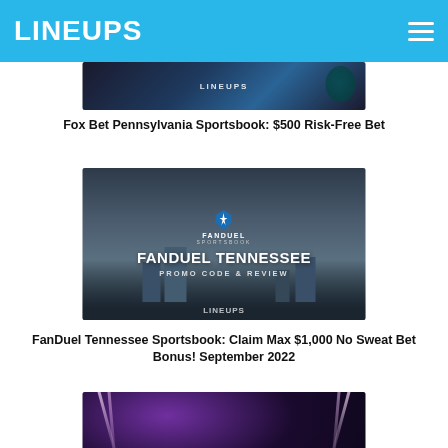LINEUPS
[Figure (screenshot): Partial thumbnail image for Fox Bet Pennsylvania sportsbook article with LINEUPS watermark and Philadelphia Eagles logo]
Fox Bet Pennsylvania Sportsbook: $500 Risk-Free Bet
[Figure (screenshot): FanDuel Tennessee Promo Code & Review thumbnail with FanDuel Sportsbook logo over city skyline, LINEUPS watermark]
FanDuel Tennessee Sportsbook: Claim Max $1,000 No Sweat Bet Bonus! September 2022
[Figure (screenshot): Betsperts Raises More Money article thumbnail with stadium lights background]